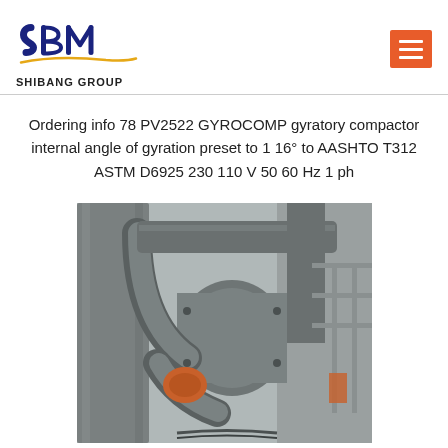[Figure (logo): SBM Shibang Group logo with blue text and gold swoosh underline]
Ordering info 78 PV2522 GYROCOMP gyratory compactor internal angle of gyration preset to 1 16° to AASHTO T312 ASTM D6925 230 110 V 50 60 Hz 1 ph
[Figure (photo): Industrial machinery photo showing large grey metal pipes, tubes, and structural steel framework of a gyratory compactor system]